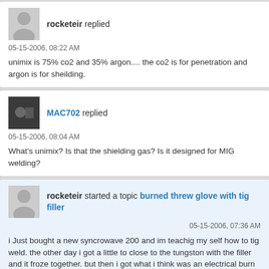rocketeir replied
05-15-2006, 08:22 AM
unimix is 75% co2 and 35% argon.... the co2 is for penetration and argon is for sheilding.
MAC702 replied
05-15-2006, 08:04 AM
What's unimix? Is that the shielding gas? Is it designed for MIG welding?
rocketeir started a topic burned threw glove with tig filler
05-15-2006, 07:36 AM
i Just bought a new syncrowave 200 and im teachig my self how to tig weld. the other day i got a little to close to the tungston with the filler and it froze together. but then i got what i think was an electrical burn on my thumb that was holding the filler rod. it didnt make a mark on the gloves but made a pin hole mark on my thumb and burned like